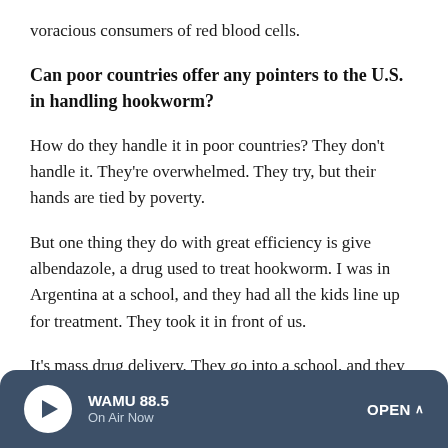voracious consumers of red blood cells.
Can poor countries offer any pointers to the U.S. in handling hookworm?
How do they handle it in poor countries? They don't handle it. They're overwhelmed. They try, but their hands are tied by poverty.
But one thing they do with great efficiency is give albendazole, a drug used to treat hookworm. I was in Argentina at a school, and they had all the kids line up for treatment. They took it in front of us.
It's mass drug delivery. They go into a school, and they don't
WAMU 88.5 On Air Now OPEN